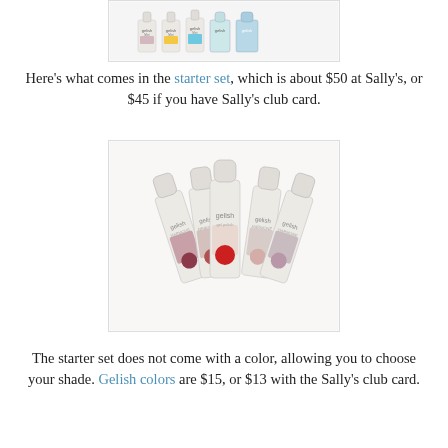[Figure (photo): Gelish Mini nail polish bottles in a row, product photo at top of page]
Here's what comes in the starter set, which is about $50 at Sally's, or $45 if you have Sally's club card.
[Figure (photo): Five Gelish nail polish bottles arranged in a fan/group, white caps, product starter set photo]
The starter set does not come with a color, allowing you to choose your shade. Gelish colors are $15, or $13 with the Sally's club card.